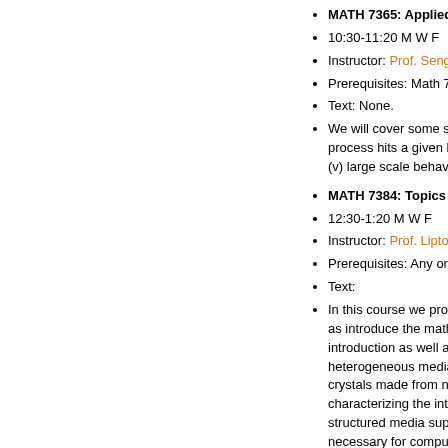MATH 7365: Applied Stochastic A...
10:30-11:20 M W F
Instructor: Prof. Sengupta.
Prerequisites: Math 7360 or equiv...
Text: None.
We will cover some special topics... process hits a given boundary; (iii)... (v) large scale behavior of correla...
MATH 7384: Topics in Material Sc...
12:30-1:20 M W F
Instructor: Prof. Lipton.
Prerequisites: Any one of Math 33...
Text:
In this course we provide an introd... as introduce the mathematics and... introduction as well as a guide to t... heterogeneous media. The course... crystals made from nobel metals.... characterizing the interaction betw... structured media supporting back... necessary for computing the effec...
MATH 7386: Theory of Partial Diff...
1:30-2:20 M W F
Instructor: Prof. Antipov.
Prerequisites: Any one of Math 43...
Texts: (1) Partial Differential Equa... (2) Partial Differential Equations o... (3) Lecture notes.
Topics to be covered include: Sobolev Spaces. Elliptic Partial Di... eigenfunctions. Applications. Sca...